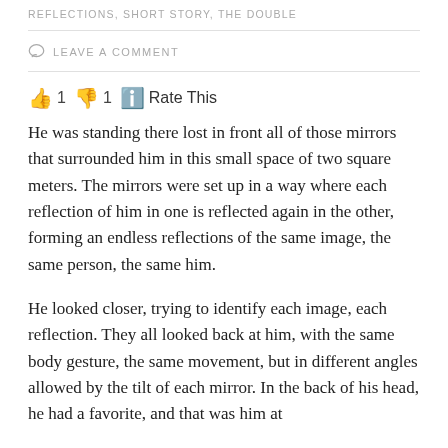REFLECTIONS, SHORT STORY, THE DOUBLE
LEAVE A COMMENT
👍 1 👎 1 ℹ️ Rate This
He was standing there lost in front all of those mirrors that surrounded him in this small space of two square meters. The mirrors were set up in a way where each reflection of him in one is reflected again in the other, forming an endless reflections of the same image, the same person, the same him.
He looked closer, trying to identify each image, each reflection. They all looked back at him, with the same body gesture, the same movement, but in different angles allowed by the tilt of each mirror. In the back of his head, he had a favorite, and that was him at